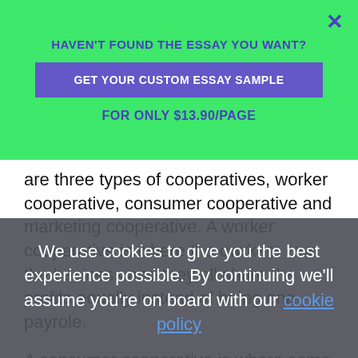HAVEN'T FOUND THE ESSAY YOU WANT?
GET YOUR CUSTOM ESSAY SAMPLE
FOR ONLY $13.90/PAGE
are three types of cooperatives, worker cooperative, consumer cooperative and marketing cooperative. A worker cooperative is where the owrkers own the besiness and they all share the profits equally instead of being ona payrole.
A consumer cooperative is where some of the consumers own and run the business so they get some form of discount. A marketing cooperative is where a number of small firms own the cooperative and share its services to each other. Anlysis This is where I will analyse the business type I can use or can't use for my business. I will choose one for my
We use cookies to give you the best experience possible. By continuing we'll assume you're on board with our cookie policy